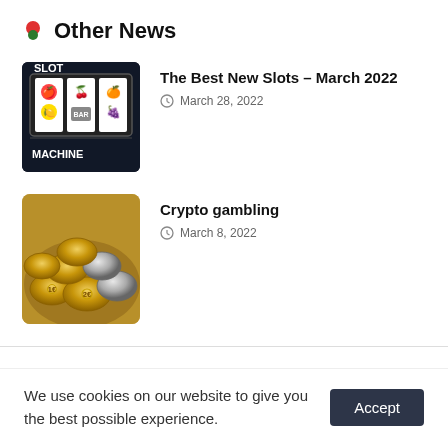Other News
[Figure (illustration): Slot machine image with colorful fruit symbols, text reads SLOT MACHINE]
The Best New Slots – March 2022
March 28, 2022
[Figure (photo): Pile of gold and silver coins]
Crypto gambling
March 8, 2022
We use cookies on our website to give you the best possible experience. Accept